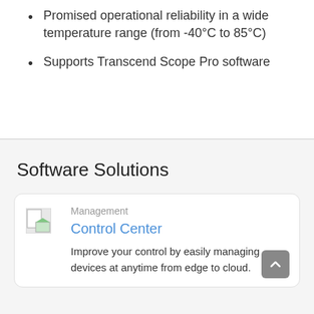Promised operational reliability in a wide temperature range (from -40°C to 85°C)
Supports Transcend Scope Pro software
Software Solutions
Management
Control Center
Improve your control by easily managing devices at anytime from edge to cloud.